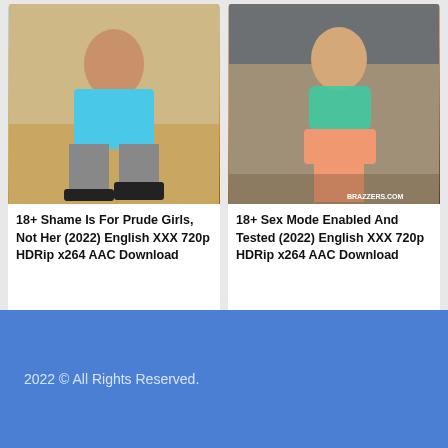[Figure (photo): Person in blue top squatting, wearing black heels, indoor setting with wood floor]
18+ Shame Is For Prude Girls, Not Her (2022) English XXX 720p HDRip x264 AAC Download
[Figure (photo): Person in teal/green crop top and pink shorts, standing indoors, BRAZZERS.com watermark]
18+ Sex Mode Enabled And Tested (2022) English XXX 720p HDRip x264 AAC Download
2022 © All Rights Reserved.